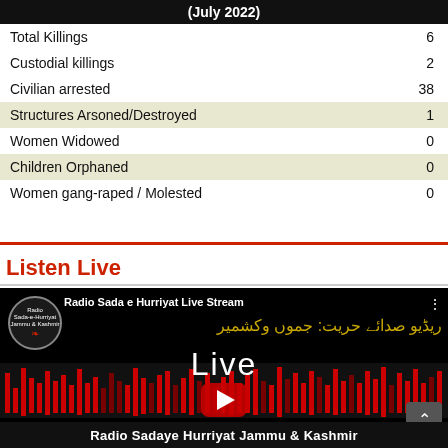| (July 2022) |  |
| --- | --- |
| Total Killings | 6 |
| Custodial killings | 2 |
| Civilian arrested | 38 |
| Structures Arsoned/Destroyed | 1 |
| Women Widowed | 0 |
| Children Orphaned | 0 |
| Women gang-raped / Molested | 0 |
Listen Live
[Figure (screenshot): YouTube live stream thumbnail for Radio Sada e Hurriyat Live Stream, showing the radio logo, Urdu text, the word 'Live' in white on black background, a red play button, waveform graphic, and the text 'Radio Sadaye Hurriyat Jammu & Kashmir' at the bottom.]